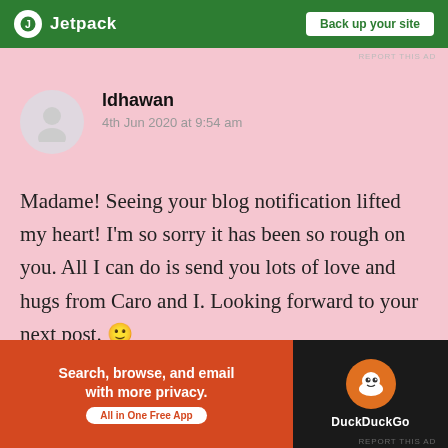[Figure (screenshot): Jetpack advertisement banner at top with green background, Jetpack logo and 'Back up your site' button]
REPORT THIS AD
ldhawan
4th Jun 2020 at 9:54 am
Madame! Seeing your blog notification lifted my heart! I'm so sorry it has been so rough on you. All I can do is send you lots of love and hugs from Caro and I. Looking forward to your next post. 🙂
★ Liked by 1 person
↪ Reply
Advertisements
[Figure (screenshot): DuckDuckGo advertisement: 'Search, browse, and email with more privacy. All in One Free App' on orange/red background with DuckDuckGo logo on dark background]
REPORT THIS AD